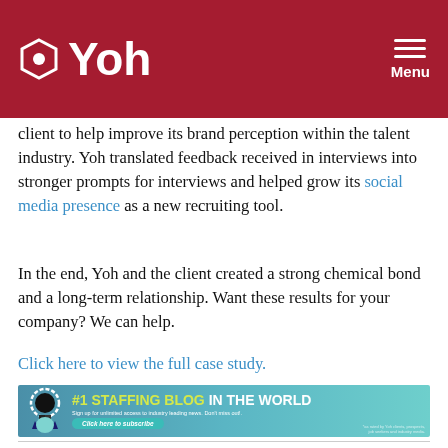Yoh — Menu
client to help improve its brand perception within the talent industry. Yoh translated feedback received in interviews into stronger prompts for interviews and helped grow its social media presence as a new recruiting tool.
In the end, Yoh and the client created a strong chemical bond and a long-term relationship. Want these results for your company? We can help.
Click here to view the full case study.
[Figure (infographic): #1 Staffing Blog in the World — Sign up for unlimited access to industry leading news. Don't miss out! Click here to subscribe.]
Case Studies,  Talent Acquisition,  Recruiting Tips